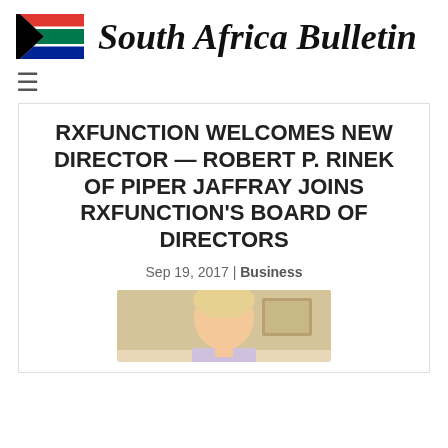South Africa Bulletin
RXFUNCTION WELCOMES NEW DIRECTOR — ROBERT P. RINEK OF PIPER JAFFRAY JOINS RXFUNCTION'S BOARD OF DIRECTORS
Sep 19, 2017 | Business
[Figure (photo): Photo of a person, partially cropped, appearing at the bottom of the page]